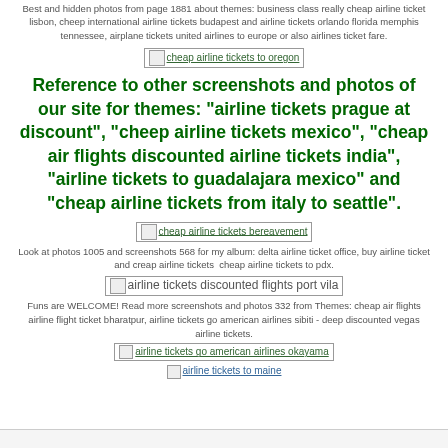Best and hidden photos from page 1881 about themes: business class really cheap airline ticket lisbon, cheep international airline tickets budapest and airline tickets orlando florida memphis tennessee, airplane tickets united airlines to europe or also airlines ticket fare.
[Figure (other): Broken image placeholder with alt text: cheap airline tickets to oregon]
Reference to other screenshots and photos of our site for themes: "airline tickets prague at discount", "cheep airline tickets mexico", "cheap air flights discounted airline tickets india", "airline tickets to guadalajara mexico" and "cheap airline tickets from italy to seattle".
[Figure (other): Broken image placeholder with alt text: cheap airline tickets bereavement]
Look at photos 1005 and screenshots 568 for my album: delta airline ticket office, buy airline ticket and creap airline tickets  cheap airline tickets to pdx.
[Figure (other): Broken image placeholder with alt text: airline tickets discounted flights port vila]
Funs are WELCOME! Read more screenshots and photos 332 from Themes: cheap air flights airline flight ticket bharatpur, airline tickets go american airlines sibiti - deep discounted vegas airline tickets.
[Figure (other): Broken image placeholder with alt text: airline tickets go american airlines okayama]
[Figure (other): Broken image placeholder link with alt text: airline tickets to maine]